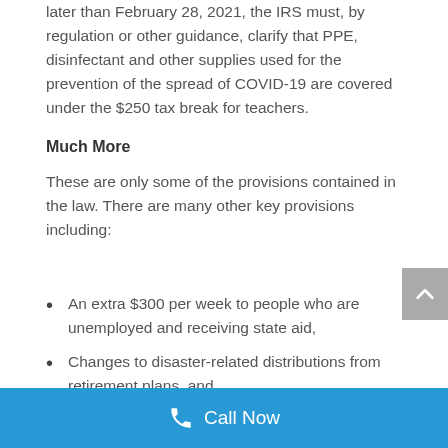later than February 28, 2021, the IRS must, by regulation or other guidance, clarify that PPE, disinfectant and other supplies used for the prevention of the spread of COVID-19 are covered under the $250 tax break for teachers.
Much More
These are only some of the provisions contained in the law. There are many other key provisions including:
An extra $300 per week to people who are unemployed and receiving state aid,
Changes to disaster-related distributions from retirement plans, and
An extension of the refundable tax credits available
Call Now